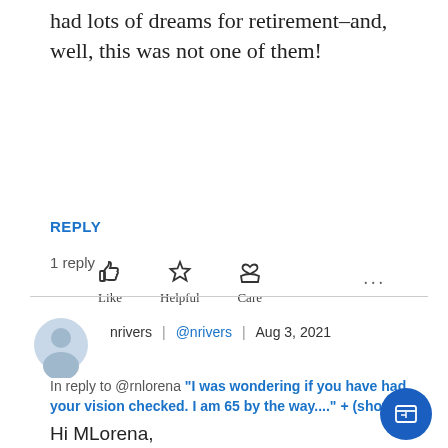had lots of dreams for retirement–and, well, this was not one of them!
[Figure (illustration): Reaction buttons row: thumbs-up (Like), star (Helpful), heart-in-hand (Care), and three dots (more options)]
REPLY
1 reply
nrivers | @nrivers | Aug 3, 2021
In reply to @rnlorena "I was wondering if you have had your vision checked. I am 65 by the way...." + (show)
Hi MLorena,
Interesting. I have also reached out to a neuro-ophthalmologist for an